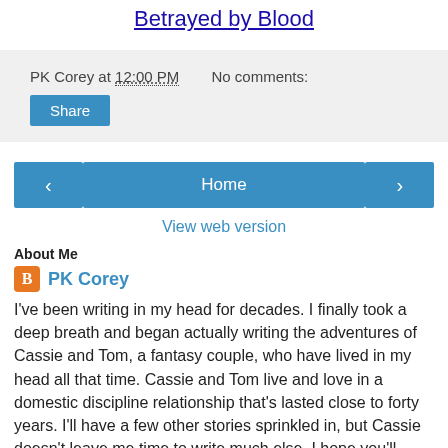Betrayed by Blood
PK Corey at 12:00 PM   No comments:
Share
‹   Home   ›
View web version
About Me
PK Corey
I've been writing in my head for decades. I finally took a deep breath and began actually writing the adventures of Cassie and Tom, a fantasy couple, who have lived in my head all that time. Cassie and Tom live and love in a domestic discipline relationship that's lasted close to forty years. I'll have a few other stories sprinkled in, but Cassie doesn't leave me time to write much else. I hope you'll enjoy